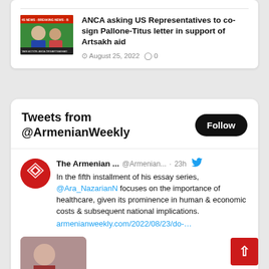[Figure (screenshot): News article thumbnail showing two people with breaking news banner]
ANCA asking US Representatives to co-sign Pallone-Titus letter in support of Artsakh aid
August 25, 2022  0
Tweets from @ArmenianWeekly
Follow
The Armenian ...  @Armenian...  · 23h
In the fifth installment of his essay series, @Ara_NazarianN focuses on the importance of healthcare, given its prominence in human & economic costs & subsequent national implications.
armenianweekly.com/2022/08/23/do-…